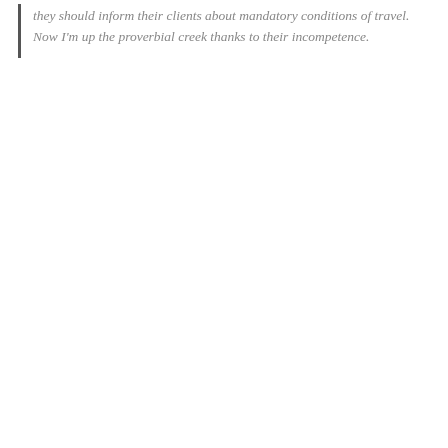they should inform their clients about mandatory conditions of travel. Now I'm up the proverbial creek thanks to their incompetence.